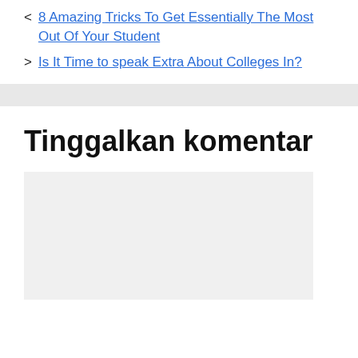8 Amazing Tricks To Get Essentially The Most Out Of Your Student
Is It Time to speak Extra About Colleges In?
Tinggalkan komentar